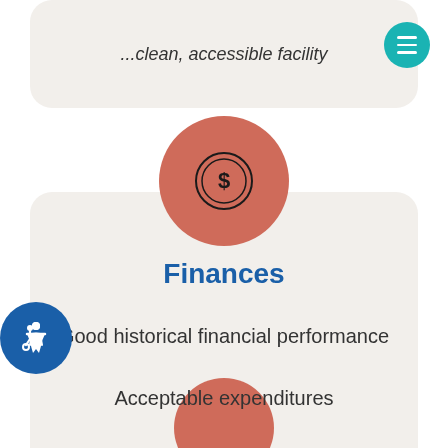...clean, accessible facility
[Figure (illustration): Coin with dollar sign icon inside a salmon/terracotta circle]
Finances
Good historical financial performance
Acceptable expenditures
[Figure (illustration): Partially visible salmon/terracotta circle at bottom of page]